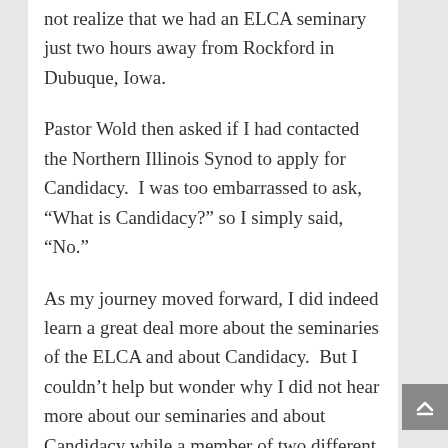not realize that we had an ELCA seminary just two hours away from Rockford in Dubuque, Iowa.
Pastor Wold then asked if I had contacted the Northern Illinois Synod to apply for Candidacy.  I was too embarrassed to ask, “What is Candidacy?” so I simply said, “No.”
As my journey moved forward, I did indeed learn a great deal more about the seminaries of the ELCA and about Candidacy.  But I couldn’t help but wonder why I did not hear more about our seminaries and about Candidacy while a member of two different ELCA congregations.